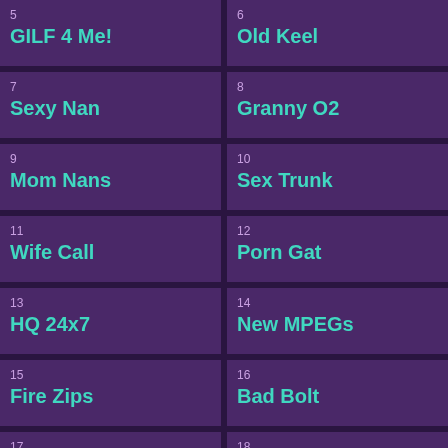5 GILF 4 Me!
6 Old Keel
7 Sexy Nan
8 Granny O2
9 Mom Nans
10 Sex Trunk
11 Wife Call
12 Porn Gat
13 HQ 24x7
14 New MPEGs
15 Fire Zips
16 Bad Bolt
17 XXX Aqua
18 Porn Chemistry
19 Tube-OK
20 Slut Fish
21 Pure Funs
22 Brash Map